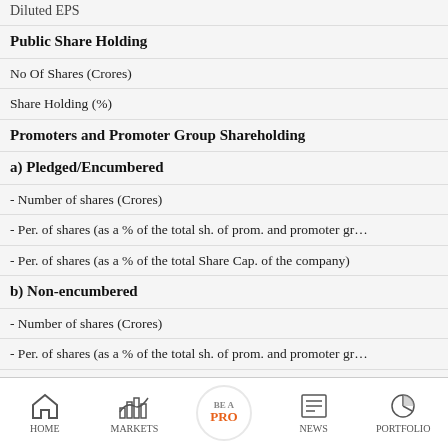Diluted EPS
Public Share Holding
No Of Shares (Crores)
Share Holding (%)
Promoters and Promoter Group Shareholding
a) Pledged/Encumbered
- Number of shares (Crores)
- Per. of shares (as a % of the total sh. of prom. and promoter gr…
- Per. of shares (as a % of the total Share Cap. of the company)
b) Non-encumbered
- Number of shares (Crores)
- Per. of shares (as a % of the total sh. of prom. and promoter gr…
- Per. of shares (as a % of the total Share Cap. of the company)
Source : Dion Global Solutions Limited
HOME   MARKETS   BE A PRO   NEWS   PORTFOLIO